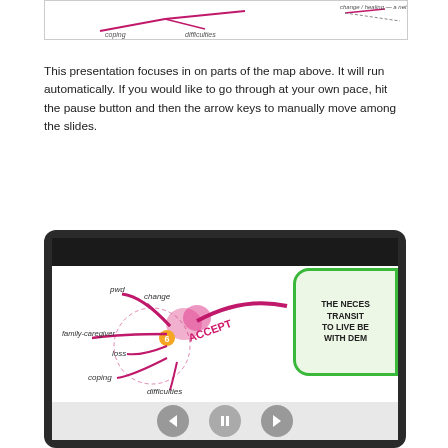[Figure (illustration): Partial mind map image showing coping, difficulties and other branches with pink/magenta lines and cursive labels]
This presentation focuses in on parts of the map above. It will run automatically. If you would like to go through at your own pace, hit the pause button and then the arrow keys to manually move among the slides.
[Figure (screenshot): Tablet device showing a mind map with ACCEPT node, branches for pwd, change, family-caregiver, loss, coping, difficulties, and a green rounded rectangle reading THE NECESSARY TRANSITIONS TO LIVE BETTER WITH DEMENTIA. Media control buttons visible at bottom.]